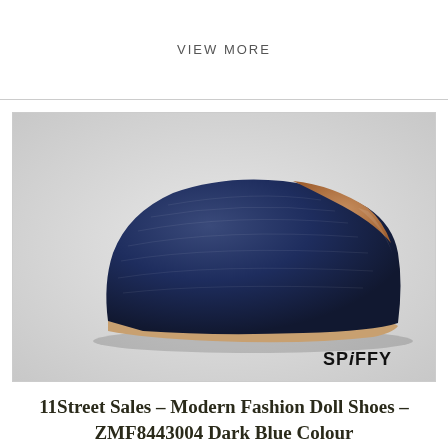VIEW MORE
[Figure (photo): Side profile of a dark navy blue ballet flat shoe with a rounded toe and tan inner lining, on a light grey background. SPiFFY brand logo visible in lower right corner.]
11Street Sales – Modern Fashion Doll Shoes – ZMF8443004 Dark Blue Colour